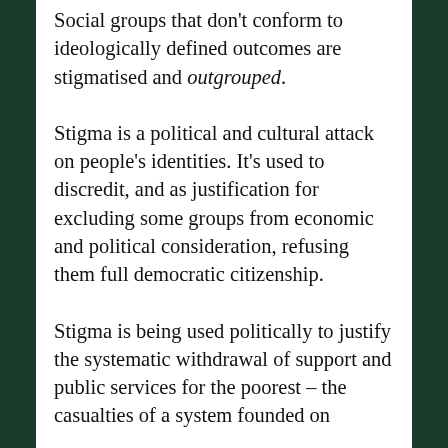Social groups that don't conform to ideologically defined outcomes are stigmatised and outgrouped.
Stigma is a political and cultural attack on people's identities. It's used to discredit, and as justification for excluding some groups from economic and political consideration, refusing them full democratic citizenship.
Stigma is being used politically to justify the systematic withdrawal of support and public services for the poorest – the casualties of a system founded on